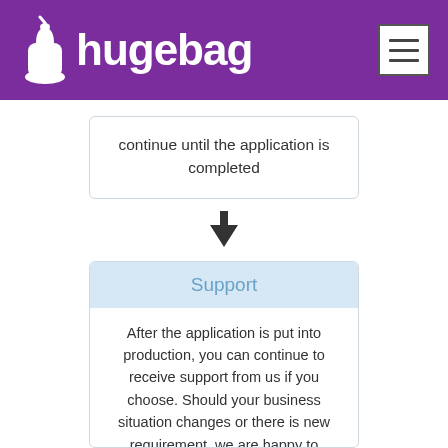hugebag
continue until the application is completed
[Figure (flowchart): Down arrow indicating flow between process steps]
Support
After the application is put into production, you can continue to receive support from us if you choose. Should your business situation changes or there is new requirement, we are happy to modify/enhance the application for you